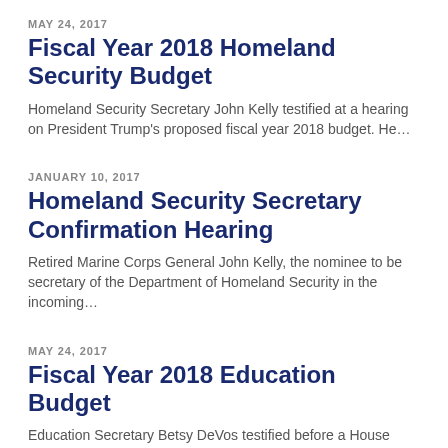MAY 24, 2017
Fiscal Year 2018 Homeland Security Budget
Homeland Security Secretary John Kelly testified at a hearing on President Trump's proposed fiscal year 2018 budget. He…
JANUARY 10, 2017
Homeland Security Secretary Confirmation Hearing
Retired Marine Corps General John Kelly, the nominee to be secretary of the Department of Homeland Security in the incoming…
MAY 24, 2017
Fiscal Year 2018 Education Budget
Education Secretary Betsy DeVos testified before a House Appropriations subcommittee on President Trump's fiscal year…